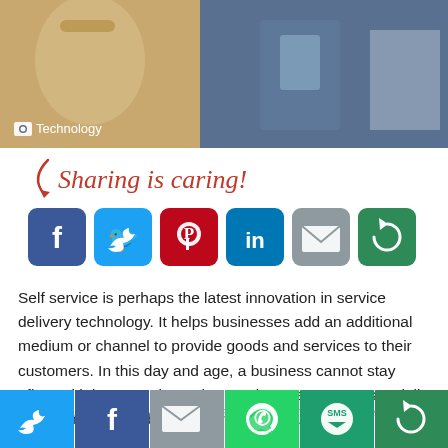[Figure (photo): A photo of people on a train or transit with luggage, overlaid with a camera icon and the label 'Technology']
Sharing is caring!
[Figure (infographic): Row of social media share buttons: Facebook (blue), Twitter (blue), Pinterest (red), LinkedIn (blue), Email (grey), More (green)]
Self service is perhaps the latest innovation in service delivery technology. It helps businesses add an additional medium or channel to provide goods and services to their customers. In this day and age, a business cannot stay afloat with just one channel to service customers, especially if that channel is a brick and mortar store.
Self service has become an essential part of service delivery
[Figure (infographic): Bottom share bar with Twitter, Facebook, Email, WhatsApp, SMS, and More (green) buttons]